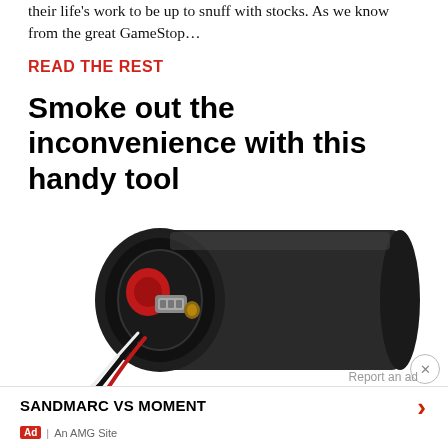their life's work to be up to snuff with stocks. As we know from the great GameStop…
READ THE REST
Smoke out the inconvenience with this handy tool
[Figure (photo): A cylindrical black device (vape/mod tool) shown horizontally, with the open end facing left revealing red and metallic internal components including coils and wires.]
Report an ad
SANDMARC VS MOMENT
Ad | An AMG Site